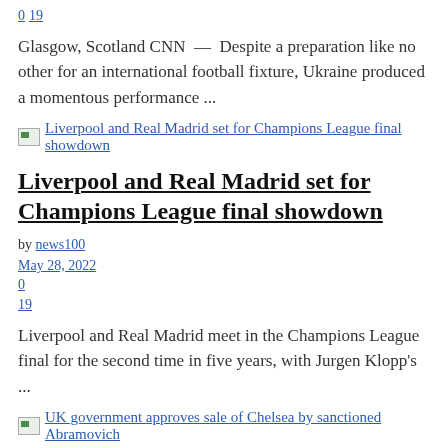0
19
Glasgow, Scotland CNN — Despite a preparation like no other for an international football fixture, Ukraine produced a momentous performance ...
[Figure (other): Thumbnail image link for Liverpool and Real Madrid set for Champions League final showdown]
Liverpool and Real Madrid set for Champions League final showdown
by news100
May 28, 2022
0
19
Liverpool and Real Madrid meet in the Champions League final for the second time in five years, with Jurgen Klopp's ...
[Figure (other): Thumbnail image link for UK government approves sale of Chelsea by sanctioned Abramovich]